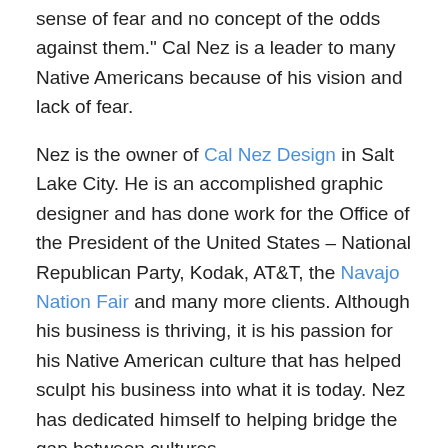sense of fear and no concept of the odds against them." Cal Nez is a leader to many Native Americans because of his vision and lack of fear.
Nez is the owner of Cal Nez Design in Salt Lake City. He is an accomplished graphic designer and has done work for the Office of the President of the United States – National Republican Party, Kodak, AT&T, the Navajo Nation Fair and many more clients. Although his business is thriving, it is his passion for his Native American culture that has helped sculpt his business into what it is today. Nez has dedicated himself to helping bridge the gap between cultures.
Native Americans are able to look up to Nez because he has worked so hard to get to where he is today, without forgetting where he came from. He was born for the